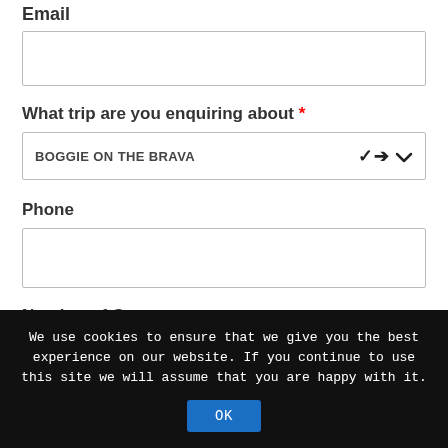Email
[email input field]
What trip are you enquiring about *
BOGGIE ON THE BRAVA [dropdown]
Phone
[phone input field]
Number of Guests
[number input field - partially visible]
We use cookies to ensure that we give you the best experience on our website. If you continue to use this site we will assume that you are happy with it. OK